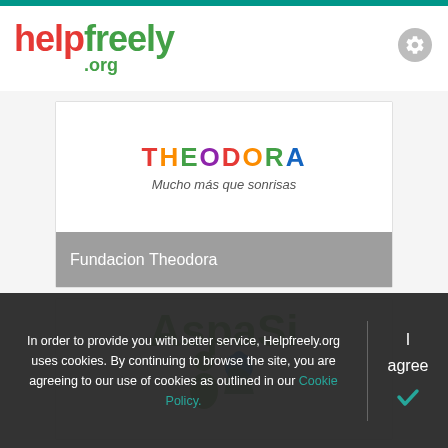helpfreely.org
[Figure (logo): Theodora foundation card with colorful THEODORA logo text and subtitle 'Mucho más que sonrisas']
Fundacion Theodora
[Figure (logo): AspaSi organization card with green AspaSi logo text and partial icon]
In order to provide you with better service, Helpfreely.org uses cookies. By continuing to browse the site, you are agreeing to our use of cookies as outlined in our Cookie Policy.